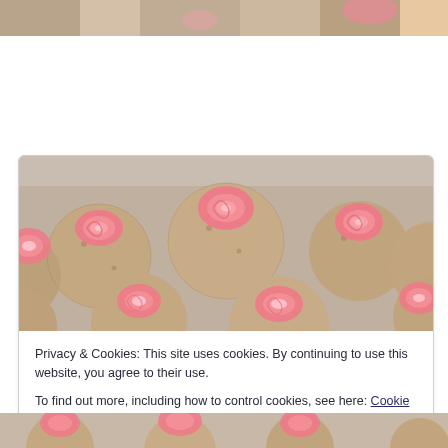[Figure (photo): Partial top image showing baked goods with icing, cropped at top of page]
[Figure (photo): Photo of round cookies topped with swirled pink frosting roses arranged on a tray]
Privacy & Cookies: This site uses cookies. By continuing to use this website, you agree to their use.
To find out more, including how to control cookies, see here: Cookie Policy
Close and accept
[Figure (photo): Partial bottom image showing cookies with pink frosting, cropped at bottom of page]